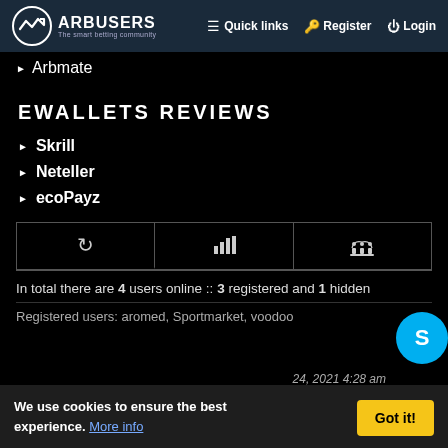ARBUSERS The smart betting community | Quick links | Register | Login
Arbmate
EWALLETS REVIEWS
Skrill
Neteller
ecoPayz
In total there are 4 users online :: 3 registered and 1 hidden
Registered users: aromed, Sportmarket, voodoo
24, 2021 4:28 am
We use cookies to ensure the best experience. More info  Got it!